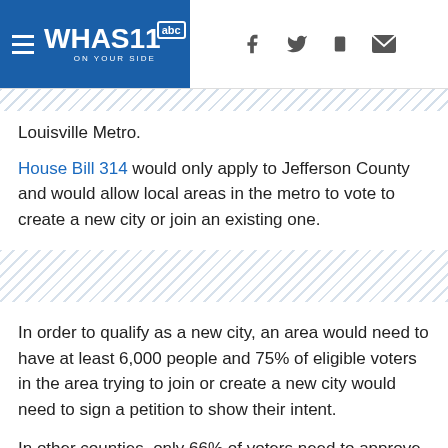[Figure (logo): WHAS11 abc On Your Side news logo with hamburger menu and social media icons (Facebook, Twitter, mobile, email)]
Louisville Metro.
House Bill 314 would only apply to Jefferson County and would allow local areas in the metro to vote to create a new city or join an existing one.
[Figure (other): Diagonal stripe decorative band]
In order to qualify as a new city, an area would need to have at least 6,000 people and 75% of eligible voters in the area trying to join or create a new city would need to sign a petition to show their intent.
In other counties, only 66% of voters need to approve annexations and incorporations.
"If 75% of the people want a city because they are not